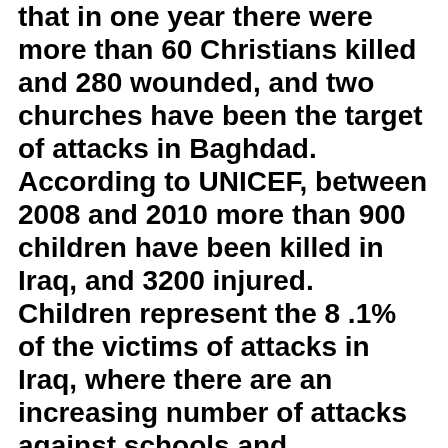that in one year there were more than 60 Christians killed and 280 wounded, and two churches have been the target of attacks in Baghdad. According to UNICEF, between 2008 and 2010 more than 900 children have been killed in Iraq, and 3200 injured. Children represent the 8 .1% of the victims of attacks in Iraq, where there are an increasing number of attacks against schools and educators. Turning to some of today's reported violence, Reuters notes a Kerbala car bombing claimed 5 lives and left fifteen people injured, a Samarra roadside bombing left one Iraqi solider injured, a Baghdad sticky bombing injured a police officer, a Kerbala car bombing which claimed 2 lives and left four more people injured, a Baghdad roadside bombing claimed 1 life and left three more people injured and a Mosul sticky bombing wounded